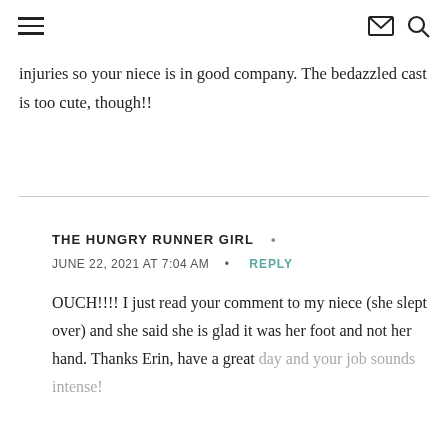≡  [envelope icon] [search icon]
injuries so your niece is in good company. The bedazzled cast is too cute, though!!
THE HUNGRY RUNNER GIRL •  JUNE 22, 2021 AT 7:04 AM • REPLY
OUCH!!!! I just read your comment to my niece (she slept over) and she said she is glad it was her foot and not her hand. Thanks Erin, have a great day and your job sounds intense!